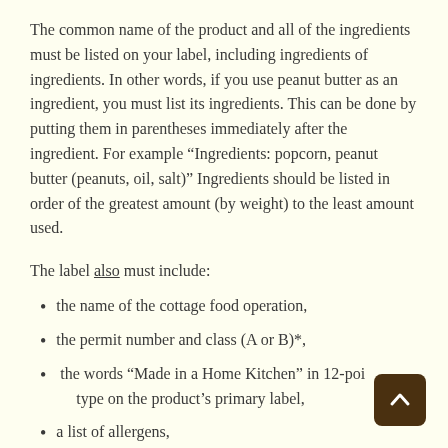The common name of the product and all of the ingredients must be listed on your label, including ingredients of ingredients. In other words, if you use peanut butter as an ingredient, you must list its ingredients.  This can be done by putting them in parentheses immediately after the ingredient.  For example “Ingredients: popcorn, peanut butter (peanuts, oil, salt)”  Ingredients should be listed in order of the greatest amount (by weight) to the least amount used.
The label also must include:
the name of the cottage food operation,
the permit number and class (A or B)*,
the words “Made in a Home Kitchen” in 12-point type on the product’s primary label,
a list of allergens,